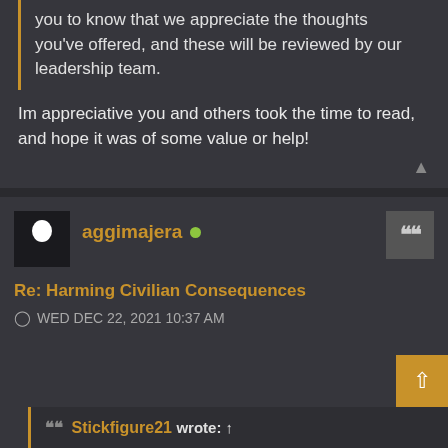you to know that we appreciate the thoughts you've offered, and these will be reviewed by our leadership team.
Im appreciative you and others took the time to read, and hope it was of some value or help!
aggimajera
Re: Harming Civilian Consequences
WED DEC 22, 2021 10:37 AM
Stickfigure21 wrote: ↑